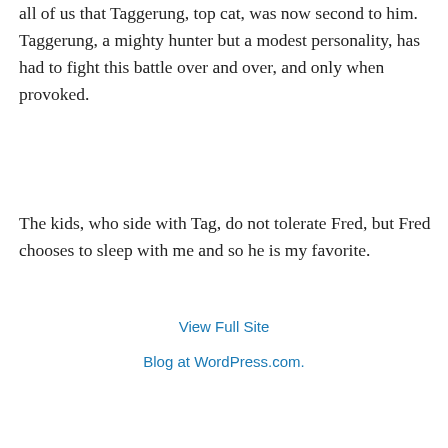all of us that Taggerung, top cat, was now second to him. Taggerung, a mighty hunter but a modest personality, has had to fight this battle over and over, and only when provoked.
The kids, who side with Tag, do not tolerate Fred, but Fred chooses to sleep with me and so he is my favorite.
↳ Reply
View Full Site
Blog at WordPress.com.